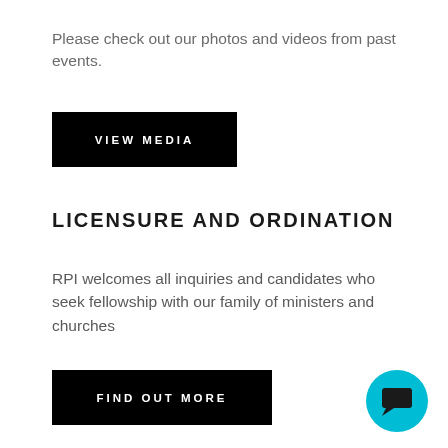Please check out our photos and videos from past events.
[Figure (other): Black button with white uppercase text reading VIEW MEDIA]
LICENSURE AND ORDINATION
RPI welcomes all inquiries and candidates who seek fellowship with our family of ministers and churches
[Figure (other): Black button with white uppercase text reading FIND OUT MORE]
[Figure (other): Cyan circular chat bubble icon button in the bottom right corner]